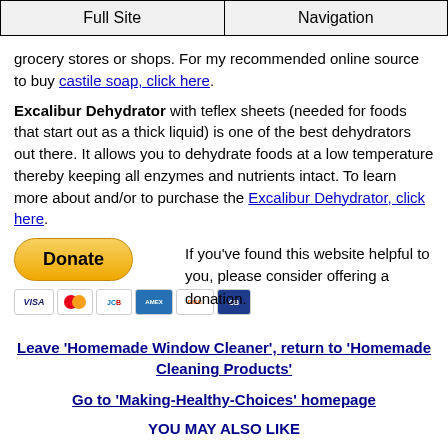Full Site | Navigation
grocery stores or shops. For my recommended online source to buy castile soap, click here.
Excalibur Dehydrator with teflex sheets (needed for foods that start out as a thick liquid) is one of the best dehydrators out there. It allows you to dehydrate foods at a low temperature thereby keeping all enzymes and nutrients intact. To learn more about and/or to purchase the Excalibur Dehydrator, click here.
[Figure (screenshot): PayPal Donate button (yellow oval) with credit card icons below (Visa, Mastercard, JCB, Amex, Discover, other)]
If you've found this website helpful to you, please consider offering a donation.
Leave 'Homemade Window Cleaner', return to 'Homemade Cleaning Products'
Go to 'Making-Healthy-Choices' homepage
YOU MAY ALSO LIKE